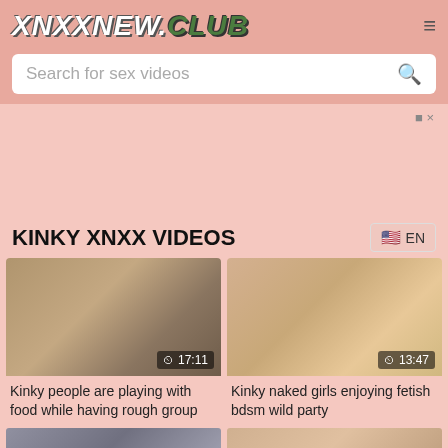XNXXNEW.CLUB
Search for sex videos
KINKY XNXX VIDEOS
[Figure (screenshot): Video thumbnail showing group scene, duration 17:11]
Kinky people are playing with food while having rough group
[Figure (screenshot): Video thumbnail showing women at party, duration 13:47]
Kinky naked girls enjoying fetish bdsm wild party